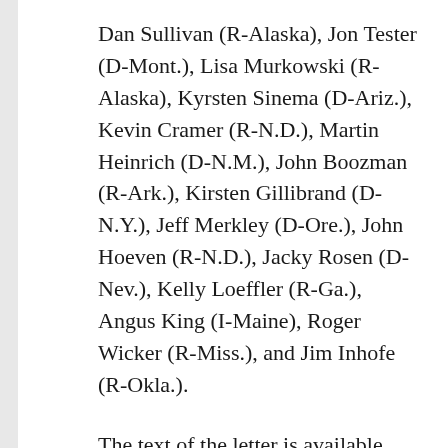Dan Sullivan (R-Alaska), Jon Tester (D-Mont.), Lisa Murkowski (R-Alaska), Kyrsten Sinema (D-Ariz.), Kevin Cramer (R-N.D.), Martin Heinrich (D-N.M.), John Boozman (R-Ark.), Kirsten Gillibrand (D-N.Y.), Jeff Merkley (D-Ore.), John Hoeven (R-N.D.), Jacky Rosen (D-Nev.), Kelly Loeffler (R-Ga.), Angus King (I-Maine), Roger Wicker (R-Miss.), and Jim Inhofe (R-Okla.).
The text of the letter is available HERE and below.
Dear Secretary Azar and Deputy Secretary Hargan,